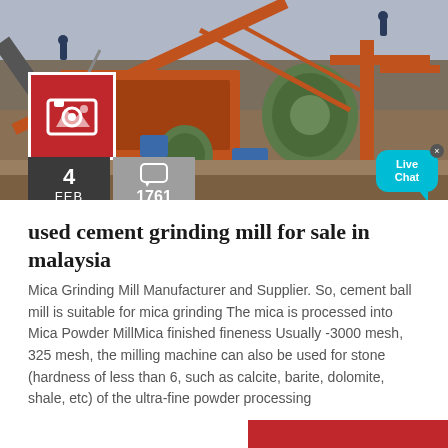[Figure (photo): Industrial mining/cement grinding mill machinery outdoors, workers visible, large conveyor belts and grinding equipment]
used cement grinding mill for sale in malaysia
Mica Grinding Mill Manufacturer and Supplier. So, cement ball mill is suitable for mica grinding The mica is processed into Mica Powder MillMica finished fineness Usually -3000 mesh, 325 mesh, the milling machine can also be used for stone (hardness of less than 6, such as calcite, barite, dolomite, shale, etc) of the ultra-fine powder processing